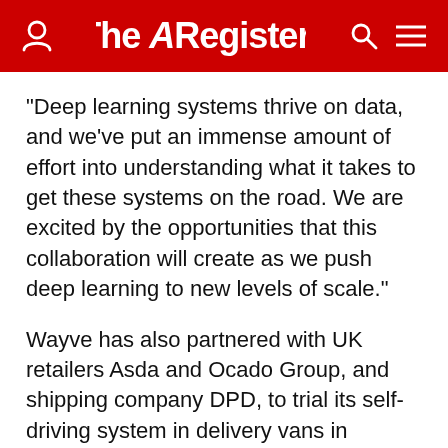The Register
"Deep learning systems thrive on data, and we've put an immense amount of effort into understanding what it takes to get these systems on the road. We are excited by the opportunities that this collaboration will create as we push deep learning to new levels of scale."
Wayve has also partnered with UK retailers Asda and Ocado Group, and shipping company DPD, to trial its self-driving system in delivery vans in London. The upstart reckons data generated during the trial will provide Wayve with fleet-scale information to further